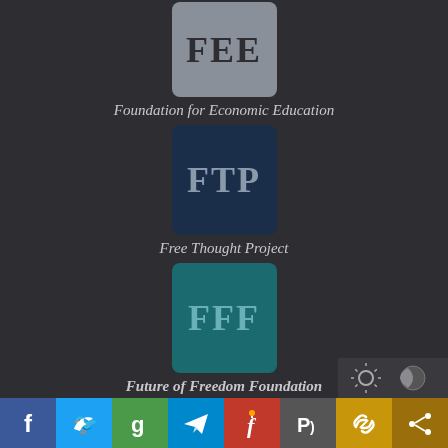[Figure (logo): FEE logo — grey square with bold letters FEE]
Foundation for Economic Education
[Figure (logo): FTP logo — dark navy square with bold letters FTP]
Free Thought Project
[Figure (logo): FFF logo — teal square with bold letters FFF]
Future of Freedom Foundation
[Figure (infographic): Social sharing bar with icons for Facebook, Twitter, Goodreads, Telegram, unknown, Parler, link, share — colored blocks]